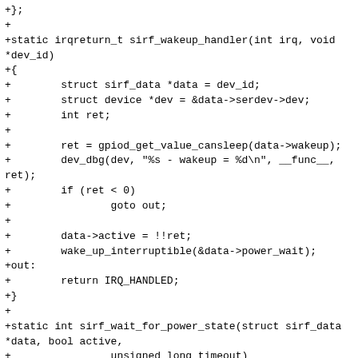+};
+
+static irqreturn_t sirf_wakeup_handler(int irq, void *dev_id)
+{
+        struct sirf_data *data = dev_id;
+        struct device *dev = &data->serdev->dev;
+        int ret;
+
+        ret = gpiod_get_value_cansleep(data->wakeup);
+        dev_dbg(dev, "%s - wakeup = %d\n", __func__, ret);
+        if (ret < 0)
+                goto out;
+
+        data->active = !!ret;
+        wake_up_interruptible(&data->power_wait);
+out:
+        return IRQ_HANDLED;
+}
+
+static int sirf_wait_for_power_state(struct sirf_data *data, bool active,
+                unsigned long timeout)
+{
+        int ret;
+
+        ret = wait_event_interruptible_timeout(data->power_wait,
+                        data->active == active,